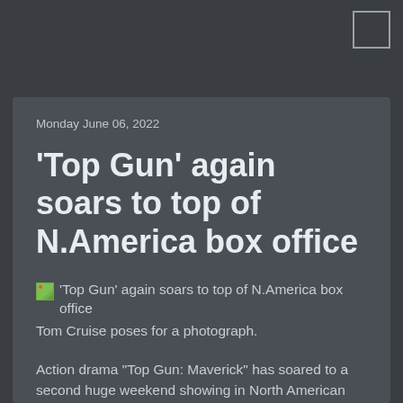Monday June 06, 2022
'Top Gun' again soars to top of N.America box office
[Figure (photo): Broken image placeholder with alt text: '&#039;Top Gun&#039; again soars to top of N.America box office'. Caption: Tom Cruise poses for a photograph.]
Action drama "Top Gun: Maverick" has soared to a second huge weekend showing in North American theaters, taking in an estimated $86